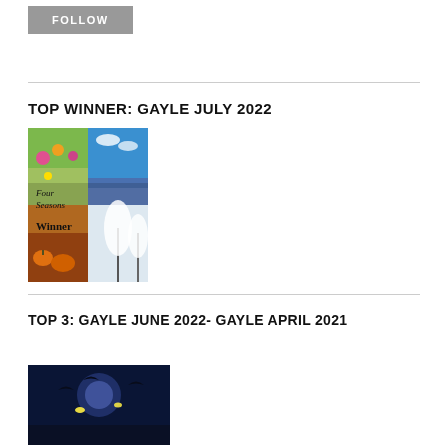[Figure (other): FOLLOW button — grey rectangle with white uppercase text]
TOP WINNER: GAYLE JULY 2022
[Figure (illustration): Four Seasons Winter book cover collage: spring flowers, summer ocean, autumn pumpkins, winter snow path with text 'Four Seasons Winter']
TOP 3: GAYLE JUNE 2022- GAYLE APRIL 2021
[Figure (photo): Dark blue night sky with bats silhouettes and glowing eyes]